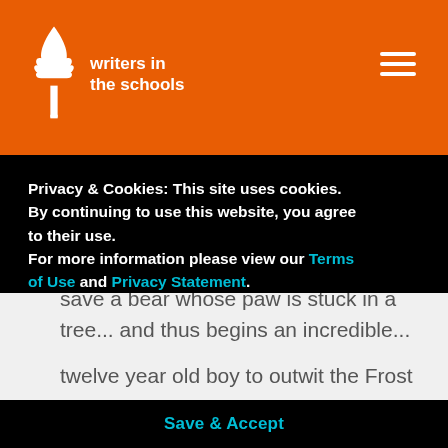writers in the schools
In the depths of a freezing Nordic winter, a crippled boy named Odd is led by a persistent fox through the forest to save a bear whose paw is stuck in a tree... and thus begins an incredible... Frost Giants...
Privacy & Cookies: This site uses cookies. By continuing to use this website, you agree to their use. For more information please view our Terms of Use and Privacy Statement.
Save & Accept
twelve year old boy to outwit the Frost